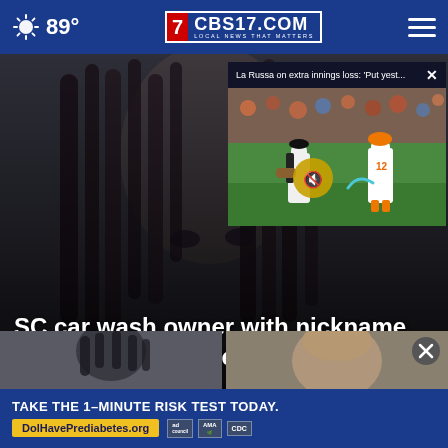89° CBS17.COM LOCAL NEWS THAT MATTERS
La Russa on extra innings loss: 'Put yest...'
[Figure (screenshot): Video popup of baseball players on field, one pitcher and one batter, with mute icon overlay]
[Figure (photo): Dark photo of a person with dreadlocks, close-up face shot, dark background]
SC car wash owner with nickname 'Baby' arrested after ...
[Figure (photo): Thumbnail of person with dreadlocks, gray background]
[Figure (photo): Thumbnail of a person's face, close-up, muted tones]
TAKE THE 1-MINUTE RISK TEST TODAY. DolHavePrediabetes.org
[Figure (logo): Ad logos: ad council, AMA, CDC]